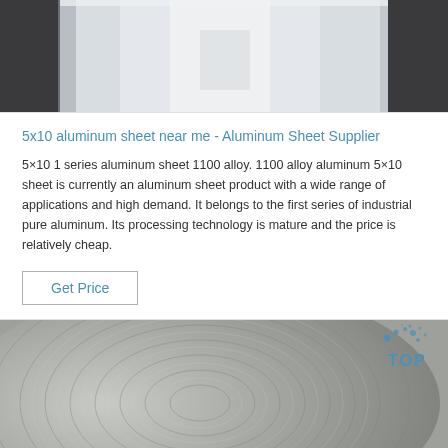[Figure (photo): Metallic aluminum sheet surface, close-up showing reflective pale grey tones with dark framing elements at edges]
5x10 aluminum sheet near me - Aluminum Sheet Supplier
5×10 1 series aluminum sheet 1100 alloy. 1100 alloy aluminum 5×10 sheet is currently an aluminum sheet product with a wide range of applications and high demand. It belongs to the first series of industrial pure aluminum. Its processing technology is mature and the price is relatively cheap.
Get Price
[Figure (photo): Close-up of polished circular aluminum disc or coil showing concentric machined surface marks, metallic grey tones, with a blue 'TOP' splash logo watermark in the upper right corner]